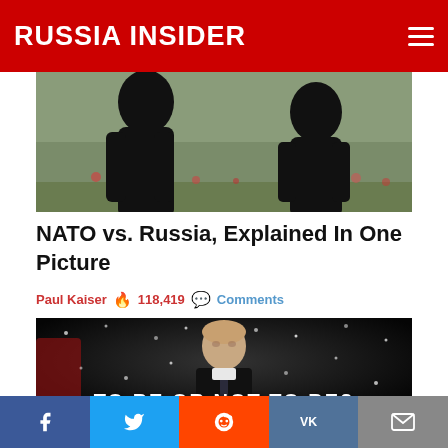RUSSIA INSIDER
[Figure (photo): Two figures in dark clothing in an outdoor field with flowers and grass background - NATO vs Russia conceptual image]
NATO vs. Russia, Explained In One Picture
Paul Kaiser  🔥 118,419  💬 Comments
[Figure (photo): Man in dark suit (Putin) against a dark snowy background with white text overlay reading 'TO BE OR NOT TO BE?']
Facebook  Twitter  Reddit  VK  Email